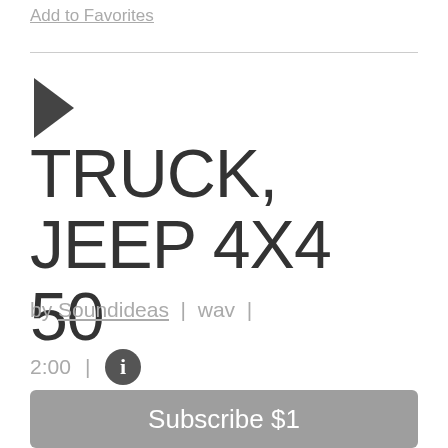Add to Favorites
▶ TRUCK, JEEP 4X4 50
by Soundideas | wav |
2:00 | ℹ
Subscribe $1